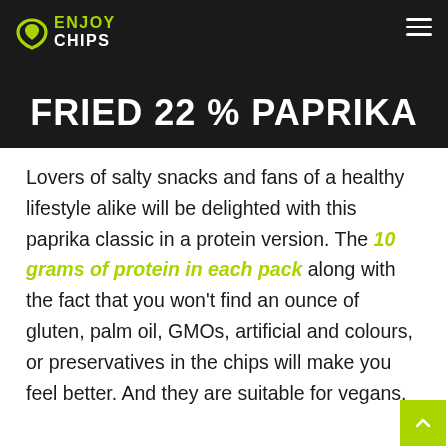ENJOY CHIPS
FRIED 22 % PAPRIKA
Lovers of salty snacks and fans of a healthy lifestyle alike will be delighted with this paprika classic in a protein version. The 10 grams of protein in each pack along with the fact that you won't find an ounce of gluten, palm oil, GMOs, artificial and colours, or preservatives in the chips will make you feel better. And they are suitable for vegans.